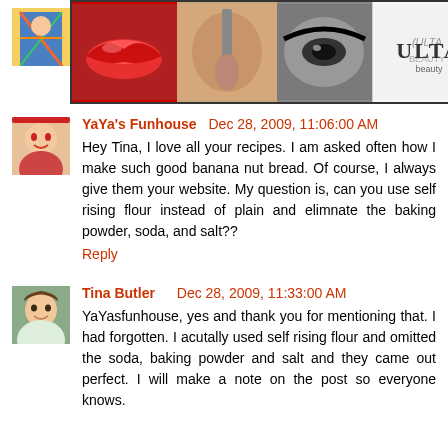[Figure (photo): User avatar: colorful dress figure]
Debbie  Dec 28, 2009, 11:03:00 AM
[Figure (photo): ULTA Beauty advertisement banner overlaying the comment]
D... d out her recipe and then never got around to it. I'll have to have them for New years.
Reply
[Figure (photo): User avatar: retro woman illustration]
YaYa's Funhouse  Dec 28, 2009, 11:06:00 AM
Hey Tina, I love all your recipes. I am asked often how I make such good banana nut bread. Of course, I always give them your website. My question is, can you use self rising flour instead of plain and elimnate the baking powder, soda, and salt??
Reply
[Figure (photo): User avatar: woman with dark hair]
Tina Butler  Dec 28, 2009, 11:33:00 AM
YaYasfunhouse, yes and thank you for mentioning that. I had forgotten. I acutally used self rising flour and omitted the soda, baking powder and salt and they came out perfect. I will make a note on the post so everyone knows.